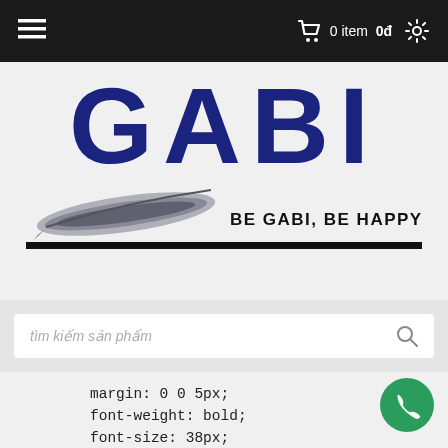≡  🛒 0 item  0đ  ⚙
[Figure (logo): GABI logo with large dark blue bold letters, a feather illustration underneath, tagline BE GABI, BE HAPPY, and a black underline bar]
tìm kiếm sản phẩm
margin: 0 0 5px;
font-weight: bold;
font-size: 38px;